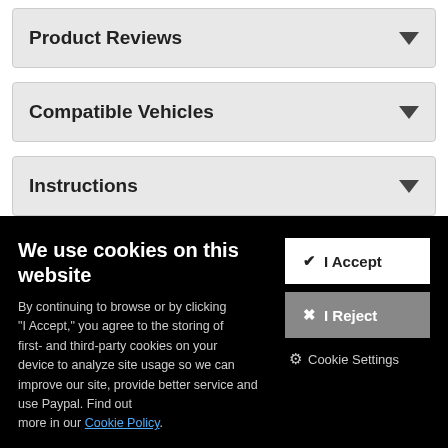Product Reviews
Compatible Vehicles
Instructions
We use cookies on this website
By continuing to browse or by clicking “I Accept,” you agree to the storing of first- and third-party cookies on your device to analyze site usage so we can improve our site, provide better service and use Paypal. Find out more in our Cookie Policy.
I Accept
I Reject
Cookie Settings